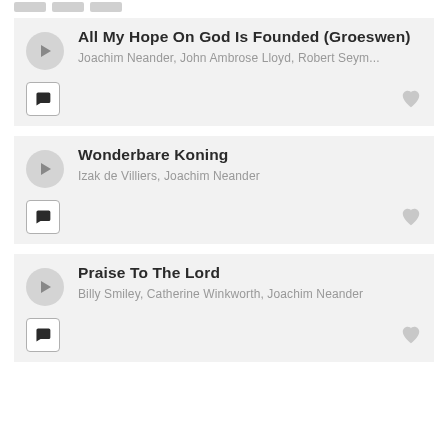All My Hope On God Is Founded (Groeswen)
Joachim Neander, John Ambrose Lloyd, Robert Seym...
Wonderbare Koning
Izak de Villiers, Joachim Neander
Praise To The Lord
Billy Smiley, Catherine Winkworth, Joachim Neander